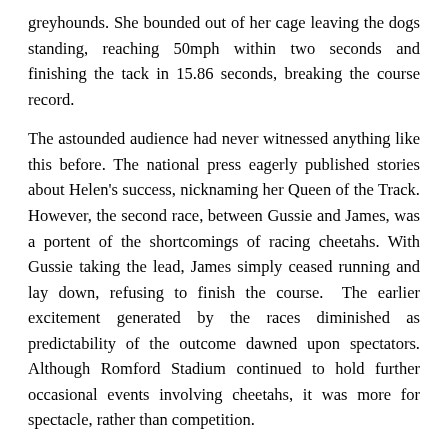greyhounds. She bounded out of her cage leaving the dogs standing, reaching 50mph within two seconds and finishing the tack in 15.86 seconds, breaking the course record.
The astounded audience had never witnessed anything like this before. The national press eagerly published stories about Helen's success, nicknaming her Queen of the Track. However, the second race, between Gussie and James, was a portent of the shortcomings of racing cheetahs. With Gussie taking the lead, James simply ceased running and lay down, refusing to finish the course. The earlier excitement generated by the races diminished as predictability of the outcome dawned upon spectators. Although Romford Stadium continued to hold further occasional events involving cheetahs, it was more for spectacle, rather than competition.
With hindsight, cheetah racing had been ill-considered. Cheetahs are solitary hunters and expend a phenomenal level of physical exertion when catching their prey, usually necessitating that they lie down and recuperate afterwards. They will only chase prey where there is a high likelihood of securing their next meal, readily giving up if there is strong competition – they lack the will and doggedness necessary for competitive racing. By April 1938, bored with the predictability of outcomes, the crowds had thinned. By the time the Second World War broke out in September 1939, cheetah racing had been abandoned.